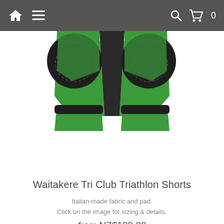Navigation bar with home icon, menu icon, search icon, cart icon with 0
[Figure (illustration): Green and black triathlon shorts viewed from behind, showing padded seat area]
Waitakere Tri Club Triathlon Shorts
Italian-made fabric and pad. Click on the image for sizing & details.
from NZ$109.00
VIEW DETAILS
[Figure (illustration): Green, white and black triathlon jersey/top viewed from front, showing collar and zipper area]